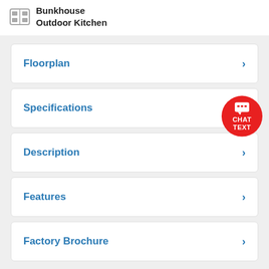Bunkhouse
Outdoor Kitchen
Floorplan
Specifications
Description
Features
Factory Brochure